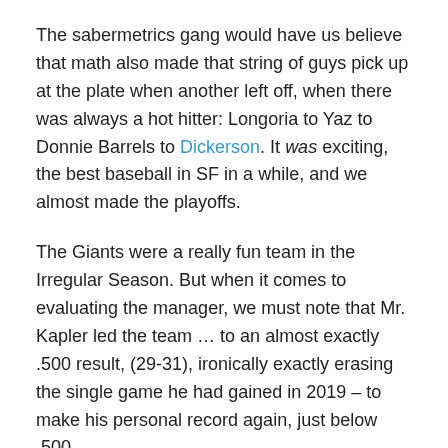The sabermetrics gang would have us believe that math also made that string of guys pick up at the plate when another left off, when there was always a hot hitter: Longoria to Yaz to Donnie Barrels to Dickerson. It was exciting, the best baseball in SF in a while, and we almost made the playoffs.
The Giants were a really fun team in the Irregular Season. But when it comes to evaluating the manager, we must note that Mr. Kapler led the team … to an almost exactly .500 result, (29-31), ironically exactly erasing the single game he had gained in 2019 – to make his personal record again, just below .500.
The Giants have been bad since 2017. Really bad. Historically bad. So bad that despite being a surprise team of the Irregular Season last year, we opened this year on